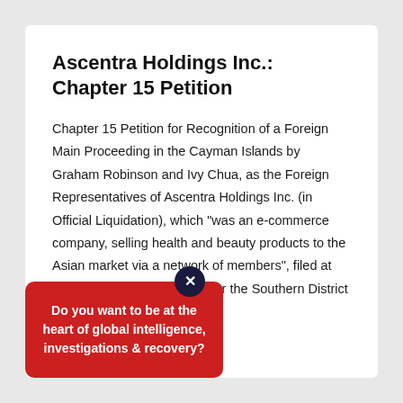Ascentra Holdings Inc.: Chapter 15 Petition
Chapter 15 Petition for Recognition of a Foreign Main Proceeding in the Cayman Islands by Graham Robinson and Ivy Chua, as the Foreign Representatives of Ascentra Holdings Inc. (in Official Liquidation), which "was an e-commerce company, selling health and beauty products to the Asian market via a network of members", filed at the U. S. Bankruptcy Court for the Southern District of New York.
Do you want to be at the heart of global intelligence, investigations & recovery?